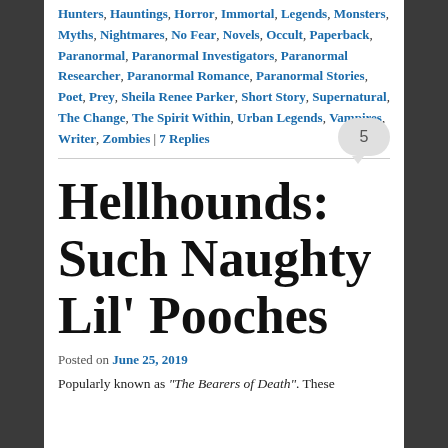Hunters, Hauntings, Horror, Immortal, Legends, Monsters, Myths, Nightmares, No Fear, Novels, Occult, Paperback, Paranormal, Paranormal Investigators, Paranormal Researcher, Paranormal Romance, Paranormal Stories, Poet, Prey, Sheila Renee Parker, Short Story, Supernatural, The Change, The Spirit Within, Urban Legends, Vampires, Writer, Zombies | 7 Replies
Hellhounds: Such Naughty Lil' Pooches
Posted on June 25, 2019
Popularly known as “The Bearers of Death”. These